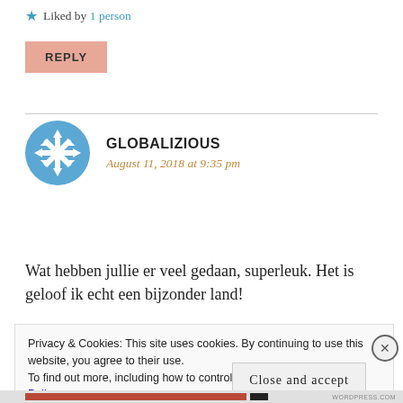★ Liked by 1 person
REPLY
GLOBALIZIOUS
August 11, 2018 at 9:35 pm
Wat hebben jullie er veel gedaan, superleuk. Het is geloof ik echt een bijzonder land!
Privacy & Cookies: This site uses cookies. By continuing to use this website, you agree to their use.
To find out more, including how to control cookies, see here: Cookie Policy
Close and accept